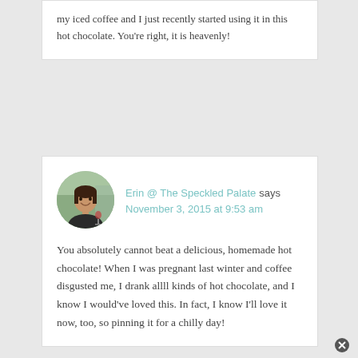my iced coffee and I just recently started using it in this hot chocolate. You're right, it is heavenly!
[Figure (photo): Avatar photo of Erin from The Speckled Palate — a smiling woman holding a wine glass outdoors]
Erin @ The Speckled Palate says November 3, 2015 at 9:53 am
You absolutely cannot beat a delicious, homemade hot chocolate! When I was pregnant last winter and coffee disgusted me, I drank allll kinds of hot chocolate, and I know I would've loved this. In fact, I know I'll love it now, too, so pinning it for a chilly day!